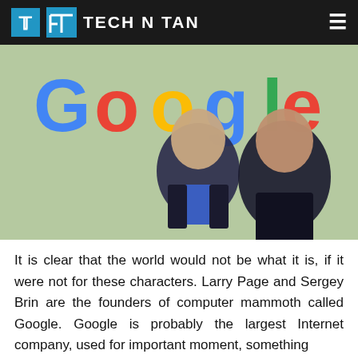TECH N TAN
[Figure (photo): Google logo and two men (Larry Page and Sergey Brin, founders of Google) posed against a light green background]
It is clear that the world would not be what it is, if it were not for these characters. Larry Page and Sergey Brin are the founders of computer mammoth called Google. Google is probably the largest Internet company, used for important moment, something